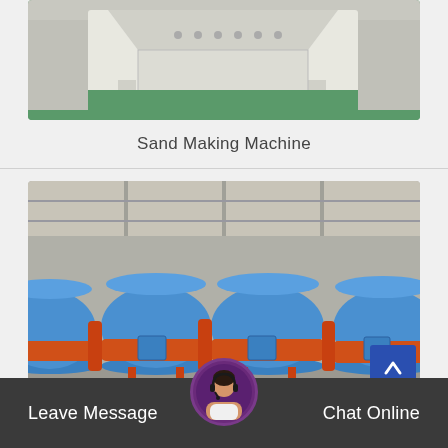[Figure (photo): Industrial sand making machine, white/grey colored, in a factory setting with green floor]
Sand Making Machine
[Figure (photo): Multiple large blue and orange industrial grinding/milling machines lined up in a warehouse/factory]
Leave Message
Chat Online